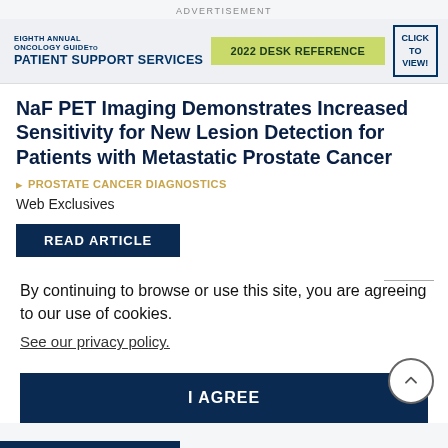ADVERTISEMENT
[Figure (logo): Eighth Annual Oncology Guide to Patient Support Services — 2022 Desk Reference advertisement banner with Click To View button]
NaF PET Imaging Demonstrates Increased Sensitivity for New Lesion Detection for Patients with Metastatic Prostate Cancer
PROSTATE CANCER DIAGNOSTICS
Web Exclusives
READ ARTICLE
By continuing to browse or use this site, you are agreeing to our use of cookies.
See our privacy policy.
I AGREE